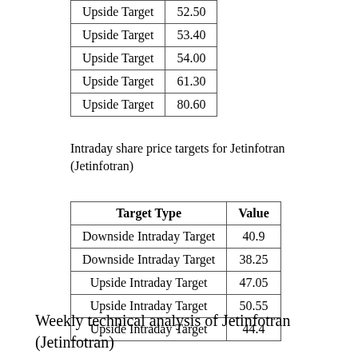| Target Type | Value |
| --- | --- |
| Upside Target | 52.50 |
| Upside Target | 53.40 |
| Upside Target | 54.00 |
| Upside Target | 61.30 |
| Upside Target | 80.60 |
Intraday share price targets for Jetinfotran (Jetinfotran)
| Target Type | Value |
| --- | --- |
| Downside Intraday Target | 40.9 |
| Downside Intraday Target | 38.25 |
| Upside Intraday Target | 47.05 |
| Upside Intraday Target | 50.55 |
| Upside Intraday Target | 44.4 |
Weekly technical analysis of Jetinfotran (Jetinfotran)